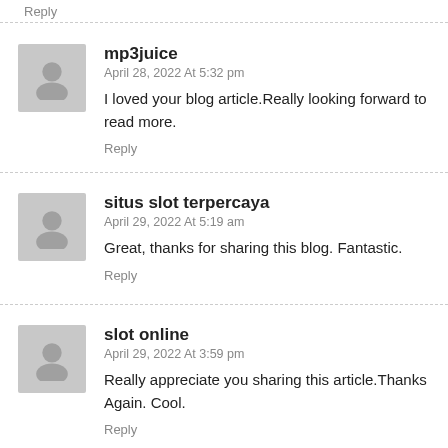Reply
mp3juice
April 28, 2022 At 5:32 pm
I loved your blog article.Really looking forward to read more.
Reply
situs slot terpercaya
April 29, 2022 At 5:19 am
Great, thanks for sharing this blog. Fantastic.
Reply
slot online
April 29, 2022 At 3:59 pm
Really appreciate you sharing this article.Thanks Again. Cool.
Reply